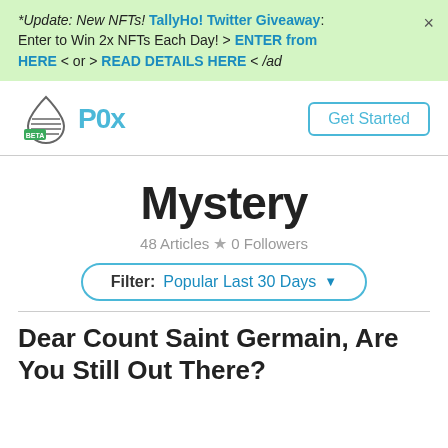*Update: New NFTs! TallyHo! Twitter Giveaway: Enter to Win 2x NFTs Each Day! > ENTER from HERE < or > READ DETAILS HERE < /ad
[Figure (logo): P0x logo - water drop icon with BETA badge and P0x text in teal]
Get Started
Mystery
48 Articles ★ 0 Followers
Filter: Popular Last 30 Days
Dear Count Saint Germain, Are You Still Out There?